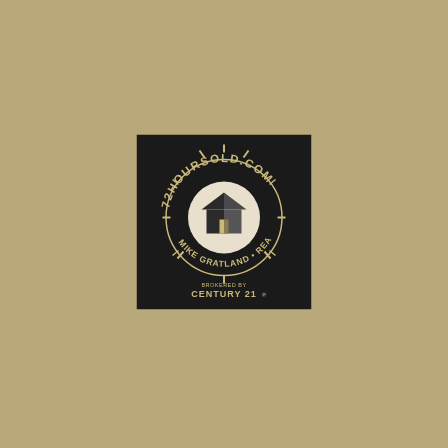[Figure (logo): 72HOURSOLD.COM logo — black square badge with circular emblem featuring a house/home icon with sun rays around it, text arcing 'MIKE GRATLAND • REALTOR®' below, and 'BROKERED BY CENTURY 21' at the bottom]